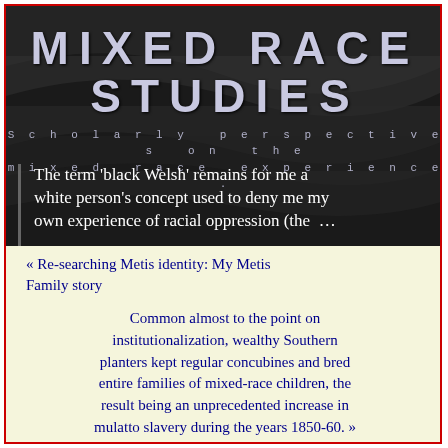MIXED RACE STUDIES
Scholarly perspectives on the mixed race experience.
The term ‘black Welsh’ remains for me a white person’s concept used to deny me my own experience of racial oppression (the …
« Re-searching Metis identity: My Metis Family story
Common almost to the point on institutionalization, wealthy Southern planters kept regular concubines and bred entire families of mixed-race children, the result being an unprecedented increase in mulatto slavery during the years 1850-60. »
Present Status of